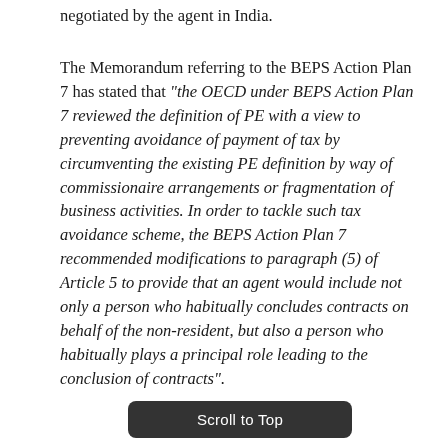negotiated by the agent in India.
The Memorandum referring to the BEPS Action Plan 7 has stated that "the OECD under BEPS Action Plan 7 reviewed the definition of PE with a view to preventing avoidance of payment of tax by circumventing the existing PE definition by way of commissionaire arrangements or fragmentation of business activities. In order to tackle such tax avoidance scheme, the BEPS Action Plan 7 recommended modifications to paragraph (5) of Article 5 to provide that an agent would include not only a person who habitually concludes contracts on behalf of the non-resident, but also a person who habitually plays a principal role leading to the conclusion of contracts".
Scroll to Top